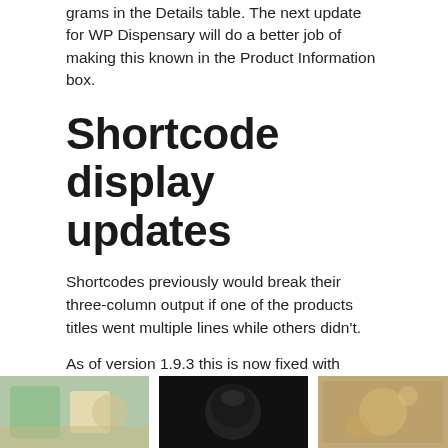grams in the Details table. The next update for WP Dispensary will do a better job of making this known in the Product Information box.
Shortcode display updates
Shortcodes previously would break their three-column output if one of the products titles went multiple lines while others didn't.
As of version 1.9.3 this is now fixed with jQuery code that calculates the height of each product output and makes them all that height.
This makes everything show up uniform, even if one product has multiple lines of text for the title while others don't.
[Figure (photo): Three product images shown in a row at the bottom of the page - a colorful product on the left, a dark/black image in the center, and a brown/tan product on the right.]